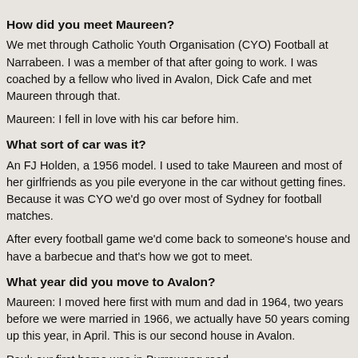How did you meet Maureen?
We met through Catholic Youth Organisation (CYO) Football at Narrabeen. I was a member of that after going to work. I was coached by a fellow who lived in Avalon, Dick Cafe and met Maureen through that.
Maureen: I fell in love with his car before him.
What sort of car was it?
An FJ Holden, a 1956 model. I used to take Maureen and most of her girlfriends as you pile everyone in the car without getting fines. Because it was CYO we'd go over most of Sydney for football matches.
After every football game we'd come back to someone's house and have a barbecue and that's how we got to meet.
What year did you move to Avalon?
Maureen: I moved here first with mum and dad in 1964, two years before we were married in 1966, we actually have 50 years coming up this year, in April. This is our second house in Avalon.
Paul: our first home was in Burrawong road.
Maureen: There were already a lot of homes here then, but not